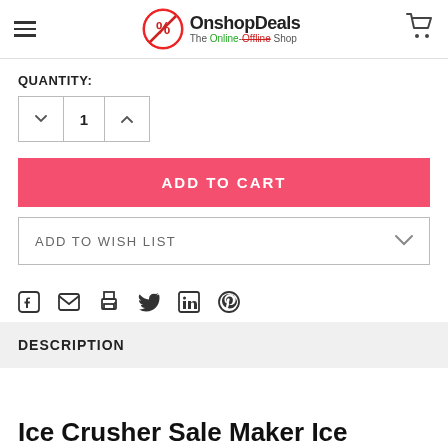OnshopDeals — The Online-Offline Shop
QUANTITY:
1
ADD TO CART
ADD TO WISH LIST
[Figure (other): Social share icons: Facebook, Email, Print, Twitter, LinkedIn, Pinterest]
DESCRIPTION
Ice Crusher Sale Maker Ice